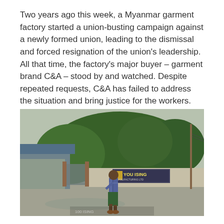Two years ago this week, a Myanmar garment factory started a union-busting campaign against a newly formed union, leading to the dismissal and forced resignation of the union's leadership. All that time, the factory's major buyer – garment brand C&A – stood by and watched. Despite repeated requests, C&A has failed to address the situation and bring justice for the workers.
[Figure (photo): Outdoor photograph of a Myanmar garment factory entrance. A person walks across a wet concrete courtyard in the foreground. Behind them is a factory sign reading 'YOU ISING' (partially visible) with 'MANUFACTURING LTD' below. The background shows green trees, a blue factory building on the left, a gate, and power lines on the right. The scene appears overcast/rainy.]